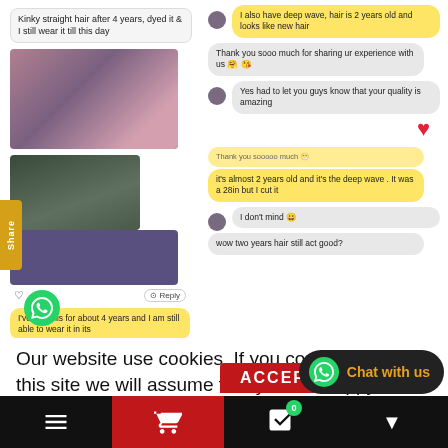[Figure (screenshot): Screenshot of a social media post and chat conversation about hair extensions quality. Left side shows a post with photos of a woman with kinky straight hair dyed purple, text 'Kinky straight hair after 4 years, dyed it & I still wear it till this day', a like button, reply button, and a yellow speech bubble 'I've had this for about 4 years and I am still able to wear it in its'. Right side shows a chat: yellow bubble 'I also have deep wave, hair is 2 years old and looks like new hair', gray bubbles 'Thank you sooo much for sharing ur experience with us', 'Yes had to let you guys know that your quality is amazing', a red heart reaction, yellow bubble 'Thank you sooooo much', 'it's almost 2 years old and it's the deep wave. It was a 28in but I cut it', gray bubbles 'I don't mind', 'wow two years hair still act good?']
Our website use cookies. If you continue to use this site we will assume that you are happy with this. More about cookies: www.aboutcookies.org
[Figure (screenshot): Bottom navigation bar with hamburger menu icon, shopping cart icon with red background, basket icon with badge showing 0, and a down arrow. A dark chat widget shows WhatsApp icon and 'Chat with us' in orange text. A red ACCEPT button partially visible.]